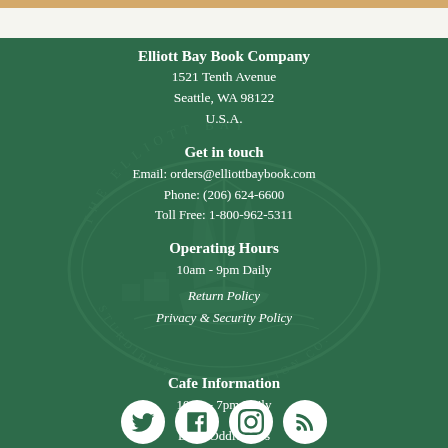Elliott Bay Book Company
1521 Tenth Avenue
Seattle, WA 98122
U.S.A.
Get in touch
Email: orders@elliottbaybook.com
Phone: (206) 624-6600
Toll Free: 1-800-962-5311
Operating Hours
10am - 9pm Daily
Return Policy
Privacy & Security Policy
Cafe Information
10am - 7pm Daily
Little Oddfellows
www.oddfellowscafe.com
[Figure (illustration): Watermark of The Elliott Bay boat logo with circular text]